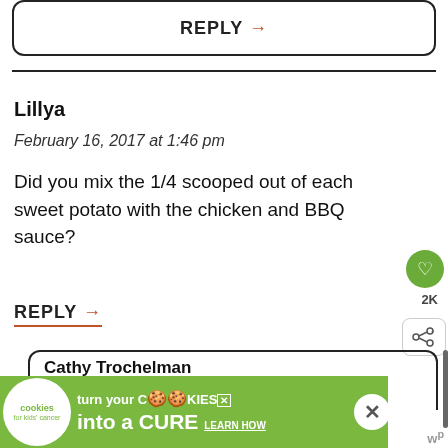[Figure (screenshot): REPLY button with orange arrow inside a rounded rectangle border at top of page]
Lillya
February 16, 2017 at 1:46 pm
Did you mix the 1/4 scooped out of each sweet potato with the chicken and BBQ sauce?
REPLY →
Cathy Trochelman
[Figure (infographic): Cookies for Kids Cancer advertisement banner: green background, white cookie circle logo, text 'turn your COOKIES into a CURE LEARN HOW']